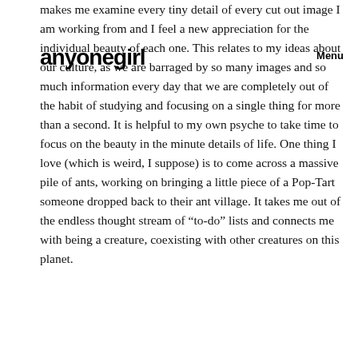anyonegirl
Menu
makes me examine every tiny detail of every cut out image I am working from and I feel a new appreciation for the individual beauty of each one. This relates to my ideas about our culture, as we are barraged by so many images and so much information every day that we are completely out of the habit of studying and focusing on a single thing for more than a second. It is helpful to my own psyche to take time to focus on the beauty in the minute details of life. One thing I love (which is weird, I suppose) is to come across a massive pile of ants, working on bringing a little piece of a Pop-Tart someone dropped back to their ant village. It takes me out of the endless thought stream of “to-do” lists and connects me with being a creature, coexisting with other creatures on this planet.